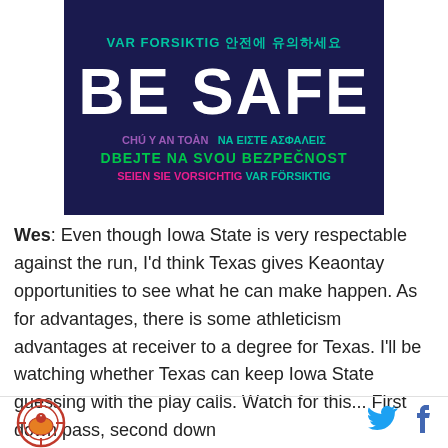[Figure (illustration): Dark navy blue banner with multilingual 'BE SAFE' message. Top: 'VAR FORSIKTIG' in teal and Korean text in teal. Center: 'BE SAFE' in large white bold text. Below: 'CHÚ Ý AN TOÀN' in purple and 'NA ΕΙΣΤΕ ΑΣΦΑΛΕΙΣ' in teal, then 'DBEJTE NA SVOU BEZPEČNOST' in green, then 'SEIEN SIE VORSICHTIG' in pink and 'VAR FÖRSIKTIG' in teal.]
Wes: Even though Iowa State is very respectable against the run, I'd think Texas gives Keaontay opportunities to see what he can make happen. As for advantages, there is some athleticism advantages at receiver to a degree for Texas. I'll be watching whether Texas can keep Iowa State guessing with the play calls. Watch for this... First down pass, second down
[Logo] [Twitter icon] [Facebook icon]